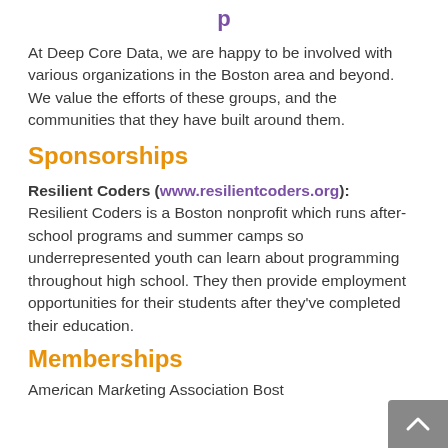p
At Deep Core Data, we are happy to be involved with various organizations in the Boston area and beyond. We value the efforts of these groups, and the communities that they have built around them.
Sponsorships
Resilient Coders (www.resilientcoders.org): Resilient Coders is a Boston nonprofit which runs after-school programs and summer camps so underrepresented youth can learn about programming throughout high school. They then provide employment opportunities for their students after they've completed their education.
Memberships
Ame rican Marketing Association Bost...